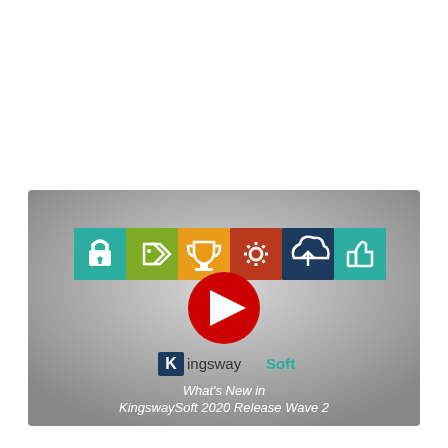[Figure (screenshot): Video thumbnail for 'What's New in KingswaySoft 2020 Release Wave 2'. Gray gradient background with a row of six colored squares (teal, green, orange, red/brown, dark blue, teal) each containing a white icon (lock, tag, trophy, gear, cloud upload, thumbs up). A red YouTube play button overlays the center. Below is the KingswaySoft logo (K in dark square, then KingswaySoft in mixed colors). White italic text at the bottom reads: What's New in KingswaySoft 2020 Release Wave 2]